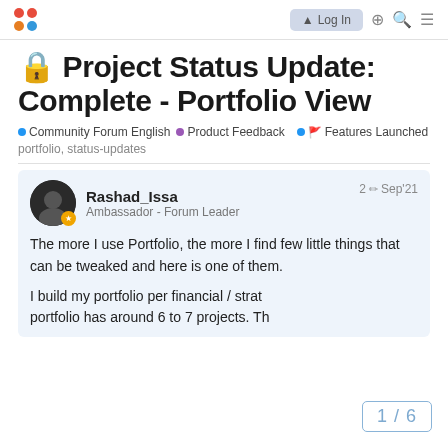Discourse forum header with logo and login button
🔒 Project Status Update: Complete - Portfolio View
Community Forum English • Product Feedback • 🚩 Features Launched   portfolio, status-updates
Rashad_Issa
Ambassador - Forum Leader
2 ✏ Sep'21
The more I use Portfolio, the more I find few little things that can be tweaked and here is one of them.
I build my portfolio per financial / strat portfolio has around 6 to 7 projects. Th
1 / 6